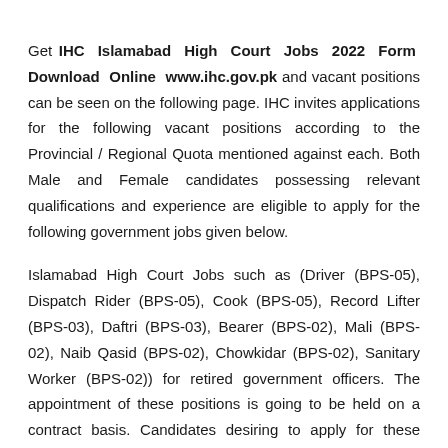Get IHC Islamabad High Court Jobs 2022 Form Download Online www.ihc.gov.pk and vacant positions can be seen on the following page. IHC invites applications for the following vacant positions according to the Provincial / Regional Quota mentioned against each. Both Male and Female candidates possessing relevant qualifications and experience are eligible to apply for the following government jobs given below.
Islamabad High Court Jobs such as (Driver (BPS-05), Dispatch Rider (BPS-05), Cook (BPS-05), Record Lifter (BPS-03), Daftri (BPS-03), Bearer (BPS-02), Mali (BPS-02), Naib Qasid (BPS-02), Chowkidar (BPS-02), Sanitary Worker (BPS-02)) for retired government officers. The appointment of these positions is going to be held on a contract basis. Candidates desiring to apply for these posts are suggested to read the criteria mentioned in the following image posted below and generally, Matric / Middle / Primary pass candidates can apply. Relevant experience will be an extra advantage for all positions. So, only suitable candidates meeting the criteria should apply as per the